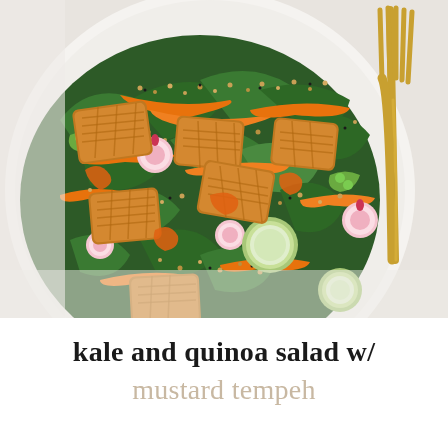[Figure (photo): Overhead close-up photo of a kale and quinoa salad on a white speckled plate, featuring golden-brown tempeh pieces, shredded carrots, sliced radishes, cucumber rounds, edamame, quinoa, and dark leafy kale greens. A gold fork rests on the right side of the plate. The plate sits on a white marble surface.]
kale and quinoa salad w/ mustard tempeh